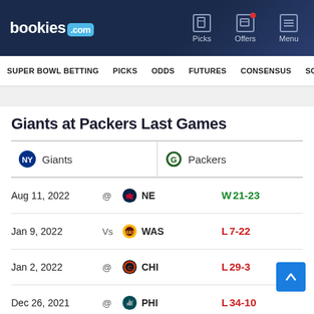bookies.com — Picks | Offers | Menu
SUPER BOWL BETTING | PICKS | ODDS | FUTURES | CONSENSUS | SC
Giants at Packers Last Games
| Giants | Packers |
| --- | --- |
| Aug 11, 2022 | @ NE | W 21-23 |
| Jan 9, 2022 | Vs WAS | L 7-22 |
| Jan 2, 2022 | @ CHI | L 29-3 |
| Dec 26, 2021 | @ PHI | L 34-10 |